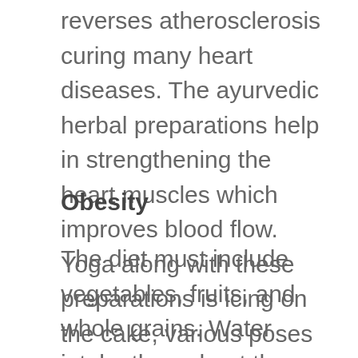reverses atherosclerosis curing many heart diseases. The ayurvedic herbal preparations help in strengthening the heart muscles which improves blood flow. Yoga along with these preparations is icing on the cake, various poses in yoga help in improving the condition of the heart as they focus more on breathing.
Obesity
The diet must include vegetables, fruits, and whole grains. Water intake throughout the day should be constant, this helps in preventing you from overeating. Avoiding sodas and sweets should be a must as all this just adds to the unnecessary calories. Exercises such as